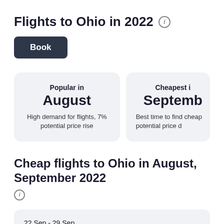Flights to Ohio in 2022 ℹ
Book
Popular in August
High demand for flights, 7% potential price rise
Cheapest in September
Best time to find cheap flights, potential price drop
Cheap flights to Ohio in August, September 2022 ℹ
22 Sep - 29 Sep